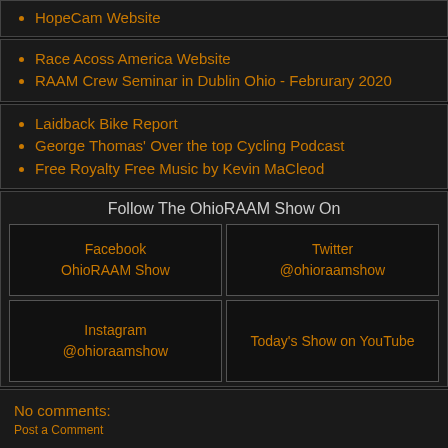HopeCam Website
Race Acoss America Website
RAAM Crew Seminar in Dublin Ohio - Februrary 2020
Laidback Bike Report
George Thomas' Over the top Cycling Podcast
Free Royalty Free Music by Kevin MaCleod
Follow The OhioRAAM Show On
| Facebook
OhioRAAM Show | Twitter
@ohioraamshow |
| Instagram
@ohioraamshow | Today's Show on YouTube |
No comments:
Post a Comment